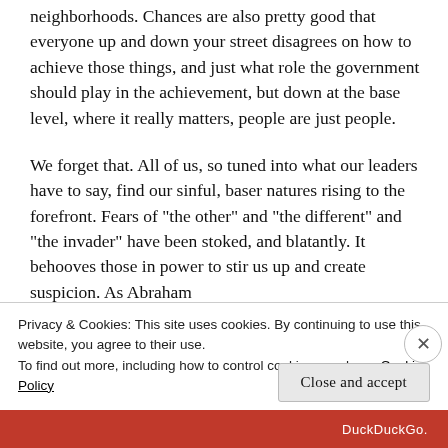neighborhoods. Chances are also pretty good that everyone up and down your street disagrees on how to achieve those things, and just what role the government should play in the achievement, but down at the base level, where it really matters, people are just people.
We forget that. All of us, so tuned into what our leaders have to say, find our sinful, baser natures rising to the forefront. Fears of “the other” and “the different” and “the invader” have been stoked, and blatantly. It behooves those in power to stir us up and create suspicion. As Abraham
Privacy & Cookies: This site uses cookies. By continuing to use this website, you agree to their use.
To find out more, including how to control cookies, see here: Cookie Policy